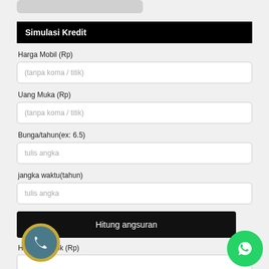Simulasi Kredit
Harga Mobil (Rp)
(tanpa koma / titik)
Uang Muka (Rp)
(tanpa koma / titik)
Bunga/tahun(ex: 6.5)
tulis angka
jangka waktu(tahun)
tulis angka
Hitung angsuran
Hutang Pokok (Rp)